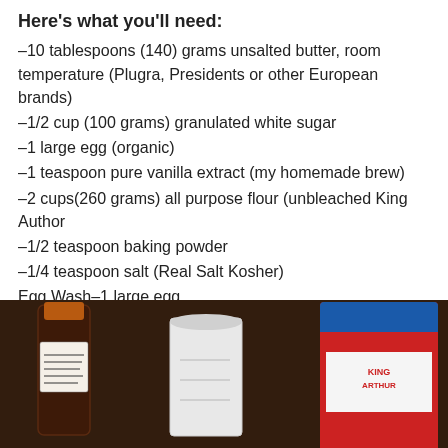Here's what you'll need:
–10 tablespoons (140) grams unsalted butter, room temperature (Plugra, Presidents or other European brands)
–1/2 cup (100 grams) granulated white sugar
–1 large egg (organic)
–1 teaspoon pure vanilla extract (my homemade brew)
–2 cups(260 grams) all purpose flour (unbleached King Author
–1/2 teaspoon baking powder
–1/4 teaspoon salt (Real Salt Kosher)
Egg Wash–1 large egg
1 tablespoon water
[Figure (photo): Photo of baking ingredients on a dark counter: a bottle of vanilla extract with a handwritten label, a white measuring cup, and a red and blue bag of King Arthur flour.]